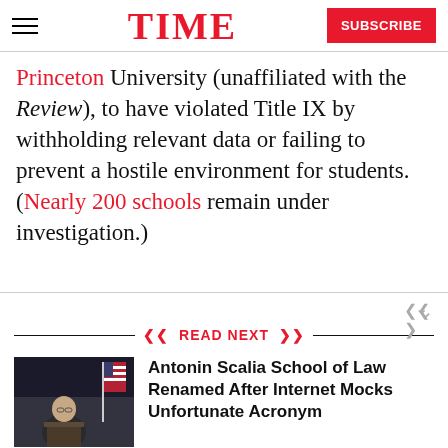TIME — SUBSCRIBE
Princeton University (unaffiliated with the Review), to have violated Title IX by withholding relevant data or failing to prevent a hostile environment for students. (Nearly 200 schools remain under investigation.)
READ NEXT
[Figure (photo): Photograph of Antonin Scalia at a podium with an American flag in the background]
Antonin Scalia School of Law Renamed After Internet Mocks Unfortunate Acronym